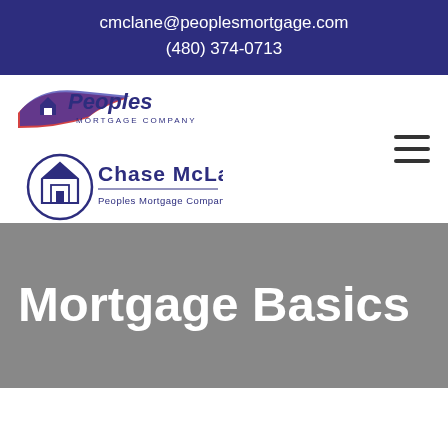cmclane@peoplesmortgage.com
(480) 374-0713
[Figure (logo): Peoples Mortgage Company logo with swoosh and house icon, and Chase McLane Peoples Mortgage Company branding below]
Mortgage Basics